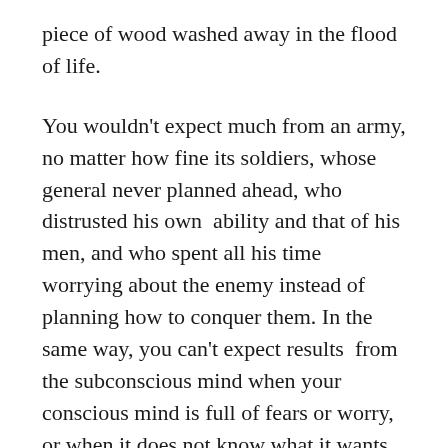piece of wood washed away in the flood of life.
You wouldn't expect much from an army, no matter how fine its soldiers, whose general never planned ahead, who distrusted his own  ability and that of his men, and who spent all his time worrying about the enemy instead of planning how to conquer them. In the same way, you can't expect results  from the subconscious mind when your conscious mind is full of fears or worry, or when it does not know what it wants.
The one most important duty of conscious